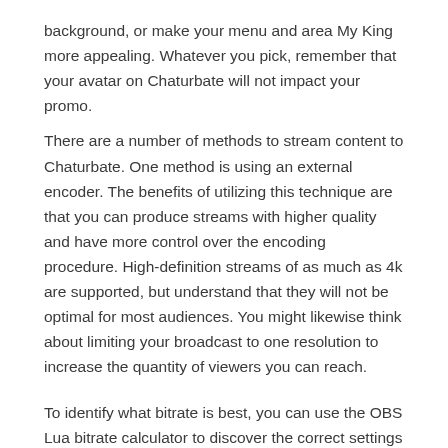background, or make your menu and area My King more appealing. Whatever you pick, remember that your avatar on Chaturbate will not impact your promo.
There are a number of methods to stream content to Chaturbate. One method is using an external encoder. The benefits of utilizing this technique are that you can produce streams with higher quality and have more control over the encoding procedure. High-definition streams of as much as 4k are supported, but understand that they will not be optimal for most audiences. You might likewise think about limiting your broadcast to one resolution to increase the quantity of viewers you can reach.
To identify what bitrate is best, you can use the OBS Lua bitrate calculator to discover the correct settings for your computer. You can also select from a range of other choices, depending on the quality of your content.
Streaming choices for Chaturbate differ according to the type of